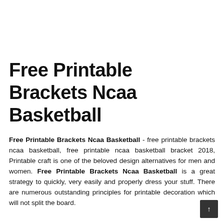Free Printable Brackets Ncaa Basketball
Free Printable Brackets Ncaa Basketball - free printable brackets ncaa basketball, free printable ncaa basketball bracket 2018, Printable craft is one of the beloved design alternatives for men and women. Free Printable Brackets Ncaa Basketball is a great strategy to quickly, very easily and properly dress your stuff. There are numerous outstanding principles for printable decoration which will not split the board.